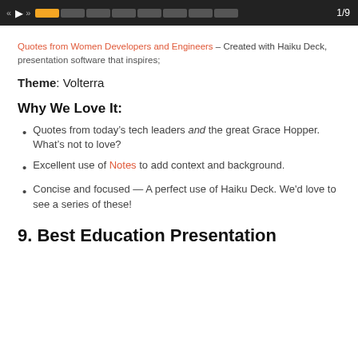«  ▶  »  [progress bar]  1/9
Quotes from Women Developers and Engineers – Created with Haiku Deck,
presentation software that inspires;
Theme: Volterra
Why We Love It:
Quotes from today's tech leaders and the great Grace Hopper. What's not to love?
Excellent use of Notes to add context and background.
Concise and focused — A perfect use of Haiku Deck. We'd love to see a series of these!
9. Best Education Presentation